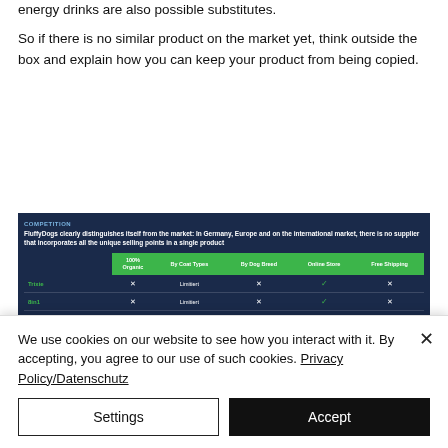energy drinks are also possible substitutes.
So if there is no similar product on the market yet, think outside the box and explain how you can keep your product from being copied.
[Figure (table-as-image): Competition comparison table showing FluffyDogs vs competitors Trixie, 8in1, Oster across columns: 100% Organic, By Coat Types, By Dog Breed, Online Store, Free Shipping. FluffyDogs header states it clearly distinguishes itself from the market in Germany, Europe and internationally.]
We use cookies on our website to see how you interact with it. By accepting, you agree to our use of such cookies. Privacy Policy/Datenschutz
Settings
Accept